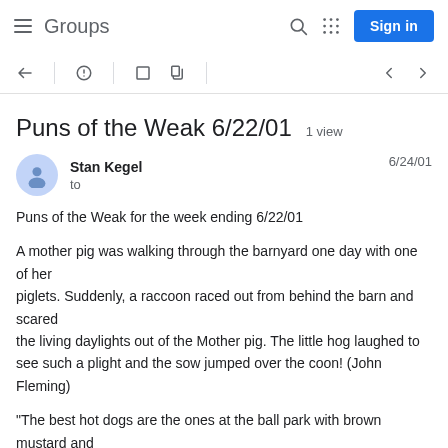Groups
Puns of the Weak 6/22/01  1 view
Stan Kegel
to
6/24/01
Puns of the Weak for the week ending 6/22/01

A mother pig was walking through the barnyard one day with one of her
piglets. Suddenly, a raccoon raced out from behind the barn and scared
the living daylights out of the Mother pig. The little hog laughed to see such a plight and the sow jumped over the coon! (John Fleming)

"The best hot dogs are the ones at the ball park with brown mustard and
chow chow," said Tom, abundantly relishing the chance to speak frankly.